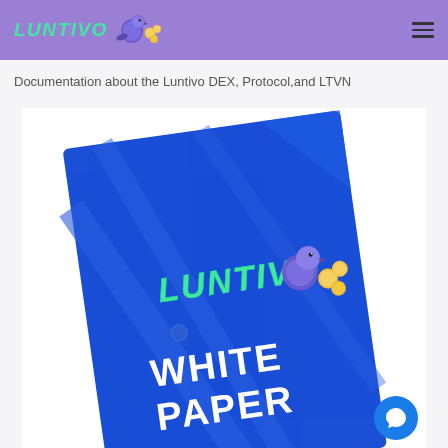LUNTIVO [logo with bird and coins]
Documentation about the Luntivo DEX, Protocol,and LTVN
[Figure (illustration): Blue book cover tilted at an angle showing the Luntivo logo (green text with a 3D purple bird and gold coins), with 'WHITE PAPER' written in large white bold text at the bottom. The cover has diagonal slash design elements in lighter blue.]